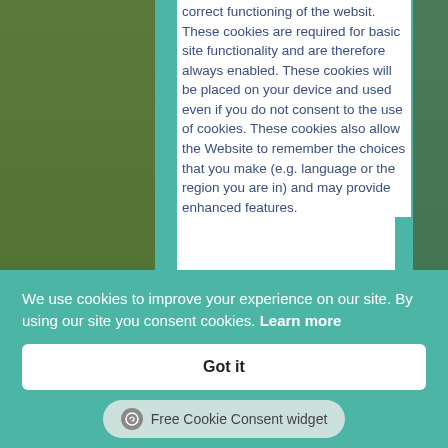correct functioning of the websit. These cookies are required for basic site functionality and are therefore always enabled. These cookies will be placed on your device and used even if you do not consent to the use of cookies. These cookies also allow the Website to remember the choices that you make (e.g. language or the region you are in) and may provide enhanced features.
Performance Cookies: Golf España uses Cookies to save browsing preferences and to optimize the user's browsing experience. Among these Cookies are, for example, those used regarding the saving of
We use cookies to improve your experience on our site. By using our site you consent cookies. Learn more
Got it
Free Cookie Consent widget